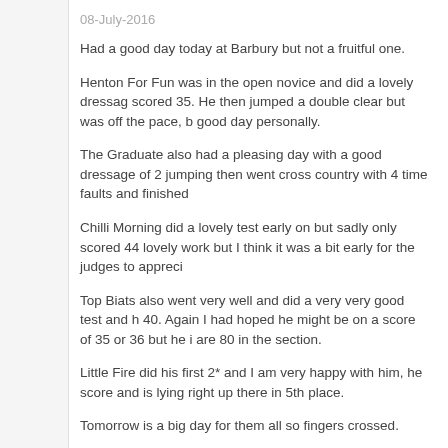08-July-2016
Had a good day today at Barbury but not a fruitful one.
Henton For Fun was in the open novice and did a lovely dressage scored 35. He then jumped a double clear but was off the pace, b good day personally.
The Graduate also had a pleasing day with a good dressage of 2 jumping then went cross country with 4 time faults and finished
Chilli Morning did a lovely test early on but sadly only scored 44 lovely work but I think it was a bit early for the judges to appreci
Top Biats also went very well and did a very very good test and h 40. Again I had hoped he might be on a score of 35 or 36 but he i are 80 in the section.
Little Fire did his first 2* and I am very happy with him, he score and is lying right up there in 5th place.
Tomorrow is a big day for them all so fingers crossed.